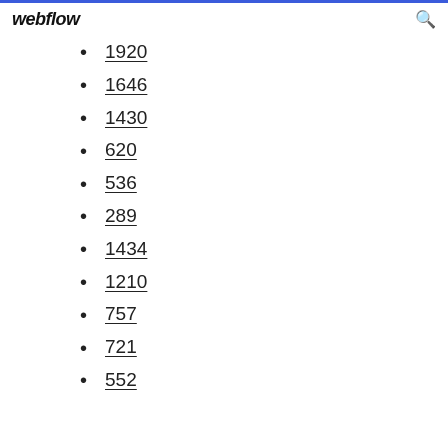webflow
1920
1646
1430
620
536
289
1434
1210
757
721
552